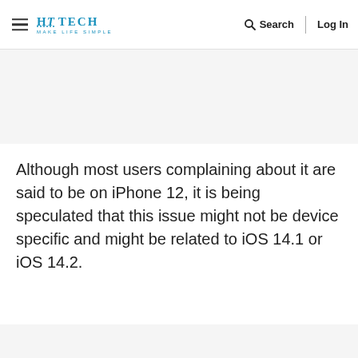HT TECH MAKE LIFE SIMPLE | Search | Log In
Although most users complaining about it are said to be on iPhone 12, it is being speculated that this issue might not be device specific and might be related to iOS 14.1 or iOS 14.2.